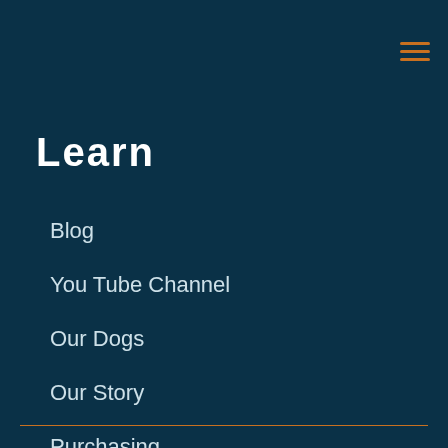Learn
Blog
You Tube Channel
Our Dogs
Our Story
Purchasing
Contact